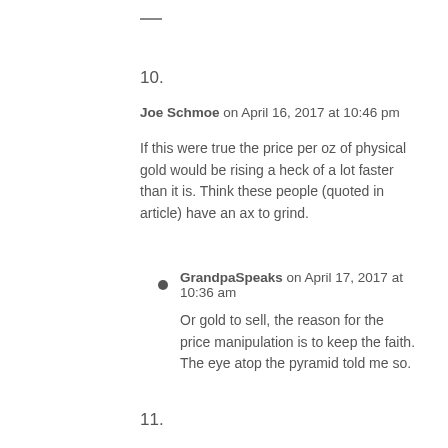10.
Joe Schmoe on April 16, 2017 at 10:46 pm
If this were true the price per oz of physical gold would be rising a heck of a lot faster than it is. Think these people (quoted in article) have an ax to grind.
GrandpaSpeaks on April 17, 2017 at 10:36 am
Or gold to sell, the reason for the price manipulation is to keep the faith. The eye atop the pyramid told me so.
11.